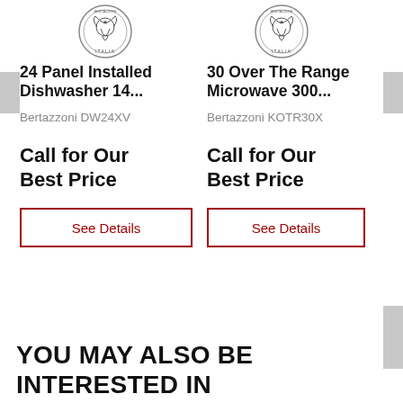[Figure (logo): Bertazzoni brand logo - circular emblem with eagle, Italia text]
24 Panel Installed Dishwasher 14...
Bertazzoni DW24XV
Call for Our Best Price
See Details
[Figure (logo): Bertazzoni brand logo - circular emblem with eagle, Italia text]
30 Over The Range Microwave 300...
Bertazzoni KOTR30X
Call for Our Best Price
See Details
YOU MAY ALSO BE INTERESTED IN